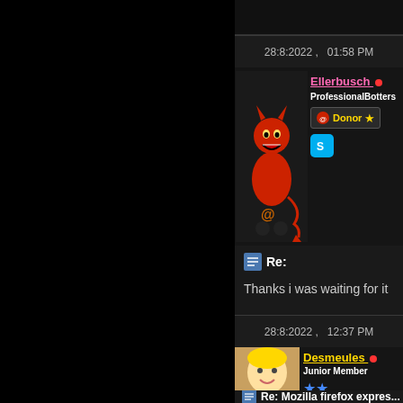28:8:2022 ,   01:58 PM
[Figure (illustration): Red devil cartoon avatar used by Ellerbusch]
Ellerbusch [online] ProfessionalBotters Donor
Re:
Thanks i was waiting for it
28:8:2022 ,   12:37 PM
[Figure (illustration): Blonde cartoon boy avatar used by Desmeules]
Desmeules [online] Junior Member ★★
Re: Mozilla firefox expres...